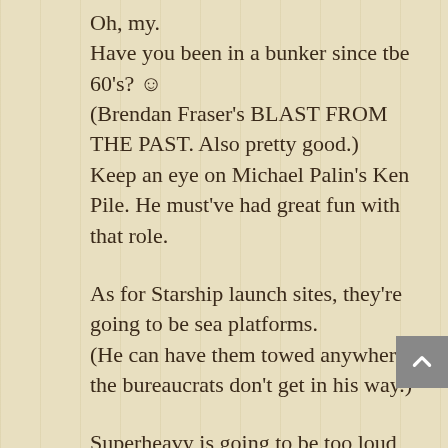Oh, my.
Have you been in a bunker since tbe 60's? ☺
(Brendan Fraser's BLAST FROM THE PAST. Also pretty good.)
Keep an eye on Michael Palin's Ken Pile. He must've had great fun with that role.
As for Starship launch sites, they're going to be sea platforms.
(He can have them towed anywhere the bureaucrats don't get in his way.)
Superheavy is going to be too loud to launch anywhere on land (except the middle of the Sahara) because it needs something like a 25M noise abatement zone. And with plans for, say three